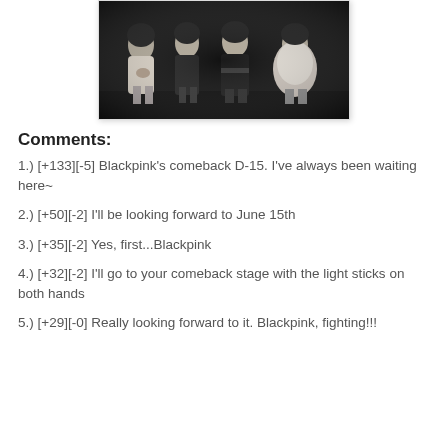[Figure (photo): Black and white group photo of four women (Blackpink) posing together against a dark background.]
Comments:
1.) [+133][-5] Blackpink's comeback D-15.  I've always been waiting here~
2.) [+50][-2] I'll be looking forward to June 15th
3.) [+35][-2] Yes, first...Blackpink
4.) [+32][-2] I'll go to your comeback stage with the light sticks on both hands
5.) [+29][-0] Really looking forward to it.  Blackpink, fighting!!!